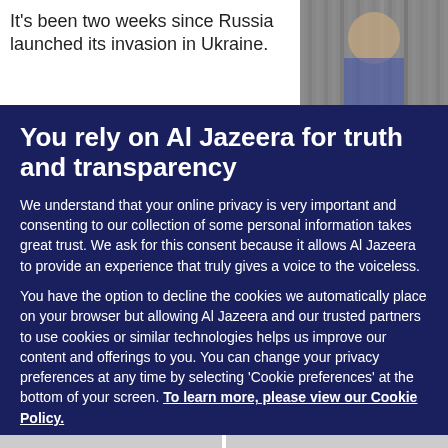It's been two weeks since Russia launched its invasion in Ukraine.
[Figure (photo): Photo of people, partially visible on the right side of the header area]
You rely on Al Jazeera for truth and transparency
We understand that your online privacy is very important and consenting to our collection of some personal information takes great trust. We ask for this consent because it allows Al Jazeera to provide an experience that truly gives a voice to the voiceless.
You have the option to decline the cookies we automatically place on your browser but allowing Al Jazeera and our trusted partners to use cookies or similar technologies helps us improve our content and offerings to you. You can change your privacy preferences at any time by selecting 'Cookie preferences' at the bottom of your screen. To learn more, please view our Cookie Policy.